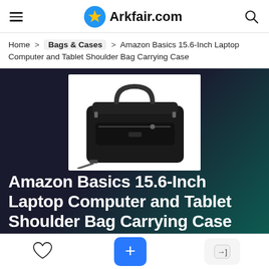Arkfair.com
Home > Bags & Cases > Amazon Basics 15.6-Inch Laptop Computer and Tablet Shoulder Bag Carrying Case
[Figure (photo): Product photo of a black Amazon Basics 15.6-Inch Laptop Shoulder Bag on a dark teal/navy gradient background]
Amazon Basics 15.6-Inch Laptop Computer and Tablet Shoulder Bag Carrying Case